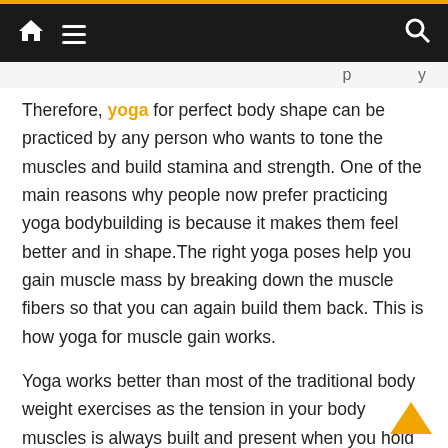Navigation bar with home, menu, and search icons
Therefore, yoga for perfect body shape can be practiced by any person who wants to tone the muscles and build stamina and strength. One of the main reasons why people now prefer practicing yoga bodybuilding is because it makes them feel better and in shape.The right yoga poses help you gain muscle mass by breaking down the muscle fibers so that you can again build them back. This is how yoga for muscle gain works.
Yoga works better than most of the traditional body weight exercises as the tension in your body muscles is always built and present when you hold any yoga pose.Holding a yoga pose is harder and requires more of stamina, and so, yoga for muscle growth and muscle strength works better than any